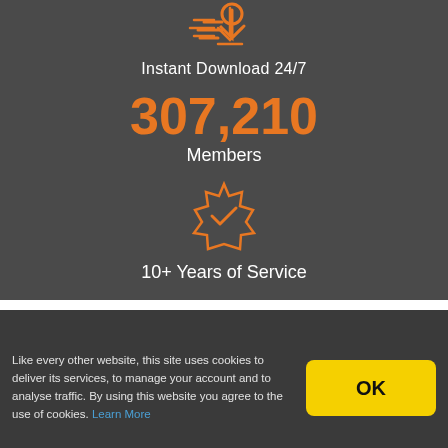[Figure (illustration): Orange download/speed icon at top]
Instant Download 24/7
307,210
Members
[Figure (illustration): Orange badge/checkmark icon]
10+ Years of Service
Like every other website, this site uses cookies to deliver its services, to manage your account and to analyse traffic. By using this website you agree to the use of cookies. Learn More